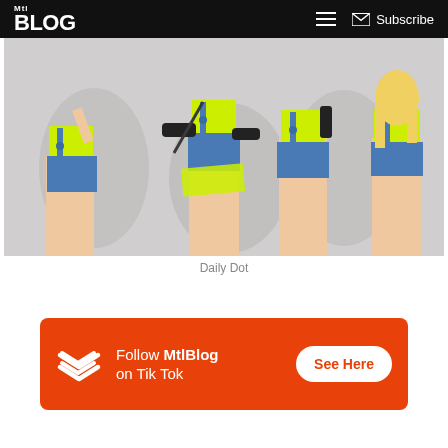MtlBlog | Subscribe
[Figure (photo): Four women wearing yellow crop tops and denim overall shorts posing in front of a grey background, styled as Minion costumes.]
Daily Dot
[Figure (infographic): Orange banner ad: MtlBlog zigzag logo on left, text 'Follow MtlBlog on Tik Tok' in center, white 'See Here' button on right.]